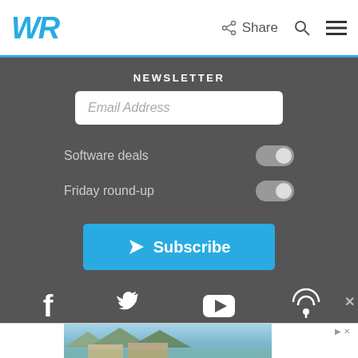WR | Share
NEWSLETTER
Email Address
Software deals
Friday round-up
Subscribe
[Figure (screenshot): Social media icons row: Facebook, Twitter, YouTube, Podcast]
[Figure (photo): Advertisement showing a house with mountains in background]